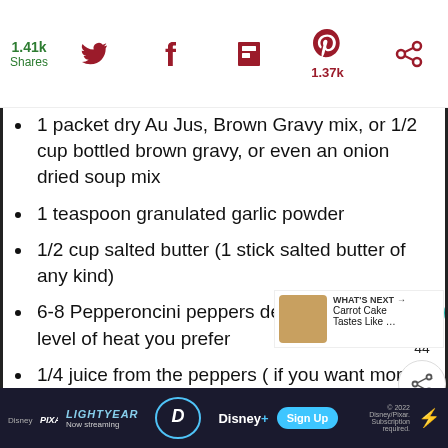1.41k Shares | Social share icons: Twitter, Facebook, Flipboard, Pinterest (1.37k), other
1 packet dry Au Jus, Brown Gravy mix, or 1/2 cup bottled brown gravy, or even an onion dried soup mix
1 teaspoon granulated garlic powder
1/2 cup salted butter (1 stick salted butter of any kind)
6-8 Pepperoncini peppers depending on the level of heat you prefer
1/4 juice from the peppers ( if you want more heat  just add a sprinkle of red pepper flakes)  Adapt to your taste
*For Pressure Cooker recipe you will need one cup beef broth
WHAT'S NEXT → Carrot Cake Tastes Like ... | Disney Pixar Lightyear — Now streaming | Sign Up | Disney+ | © 2022 Disney/Pixar. Subscription required.